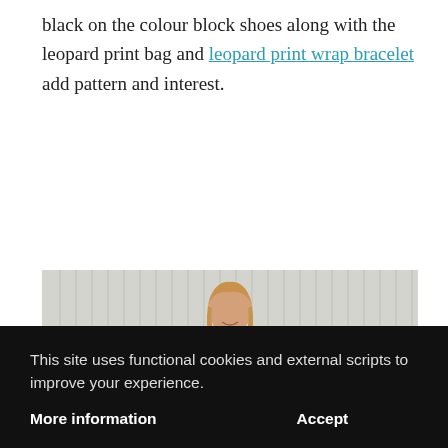black on the colour block shoes along with the leopard print bag and leopard print wrap bracelet add pattern and interest.
[Figure (photo): A smiling blonde woman wearing a sparkly pink/rose gold top, standing against a white vertical panel wall background.]
This site uses functional cookies and external scripts to improve your experience.
More information   Accept